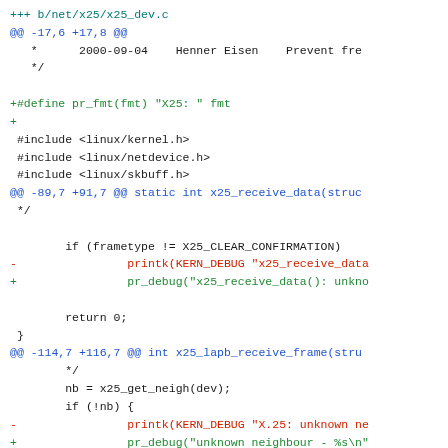[Figure (screenshot): Code diff showing changes to net/x25/x25_dev.c, replacing printk(KERN_DEBUG) calls with pr_debug() and adding #define pr_fmt(fmt)]